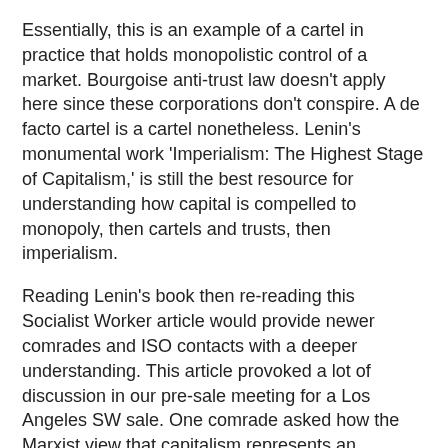Essentially, this is an example of a cartel in practice that holds monopolistic control of a market. Bourgoise anti-trust law doesn't apply here since these corporations don't conspire. A de facto cartel is a cartel nonetheless. Lenin's monumental work 'Imperialism: The Highest Stage of Capitalism,' is still the best resource for understanding how capital is compelled to monopoly, then cartels and trusts, then imperialism.
Reading Lenin's book then re-reading this Socialist Worker article would provide newer comrades and ISO contacts with a deeper understanding. This article provoked a lot of discussion in our pre-sale meeting for a Los Angeles SW sale. One comrade asked how the Marxist view that capitalism represents an unplanned economy could explain things like cartels. The answer of course is that while individual corporations, or a specific sector of a market engages in planning, that the effects on other parts of the economy or society are not taken into account.
A good example relating to the oil cartel's price gouging is how it raises prices on other items because the increase in